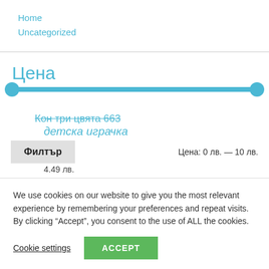Home
Uncategorized
Цена
[Figure (other): Price range slider with two blue circle handles spanning full width, track filled in blue]
Кон три цвята 663
детска играчка
Филтър
Цена: 0 лв. — 10 лв.
4.49 лв.
We use cookies on our website to give you the most relevant experience by remembering your preferences and repeat visits. By clicking "Accept", you consent to the use of ALL the cookies.
Cookie settings
ACCEPT